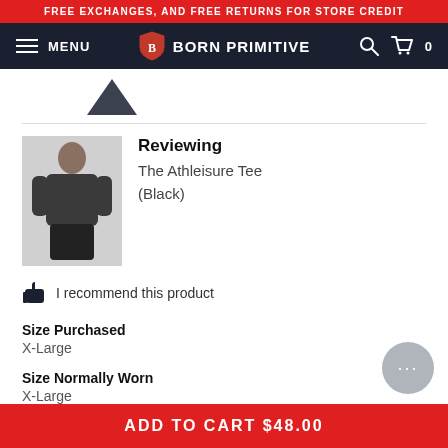FREE EXCHANGES, AND FREE RETURNS FOR STORE CREDIT
MENU | BORN PRIMITIVE | 0
Reviewing
The Athleisure Tee (Black)
I recommend this product
Size Purchased
X-Large
Size Normally Worn
X-Large
Performance
Running, Weightlifting, Everyday Wear
ADD TO CART $48.00